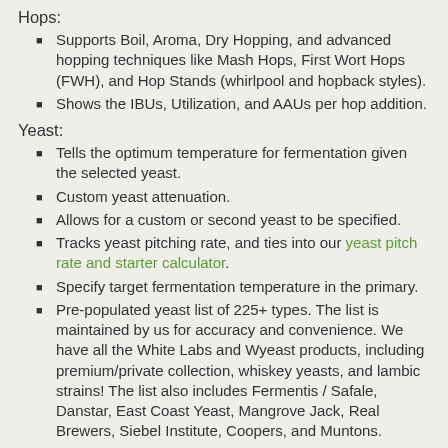Hops:
Supports Boil, Aroma, Dry Hopping, and advanced hopping techniques like Mash Hops, First Wort Hops (FWH), and Hop Stands (whirlpool and hopback styles).
Shows the IBUs, Utilization, and AAUs per hop addition.
Yeast:
Tells the optimum temperature for fermentation given the selected yeast.
Custom yeast attenuation.
Allows for a custom or second yeast to be specified.
Tracks yeast pitching rate, and ties into our yeast pitch rate and starter calculator.
Specify target fermentation temperature in the primary.
Pre-populated yeast list of 225+ types. The list is maintained by us for accuracy and convenience. We have all the White Labs and Wyeast products, including premium/private collection, whiskey yeasts, and lambic strains! The list also includes Fermentis / Safale, Danstar, East Coast Yeast, Mangrove Jack, Real Brewers, Siebel Institute, Coopers, and Muntons.
Scaling:
Ability to scale the batch size.
Ability to scale by efficiency.